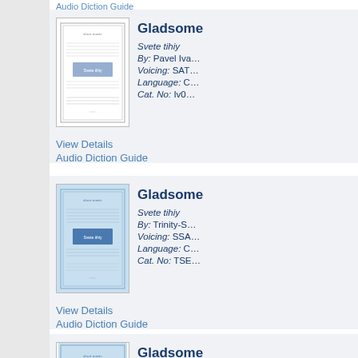Audio Diction Guide
[Figure (illustration): Sheet music cover thumbnail for Gladsome Light / Svete tihiy, white background]
Gladsome
Svete tihiy
By:  Pavel Iv…
Voicing:  SAT…
Language:  C…
Cat. No:  Iv0…
View Details
Audio Diction Guide
[Figure (illustration): Sheet music cover thumbnail for Gladsome Light / Svete tihiy, blue background]
Gladsome
Svete tihiy
By:  Trinity-S…
Voicing:  SSA…
Language:  C…
Cat. No:  TSE…
View Details
Audio Diction Guide
[Figure (illustration): Sheet music cover thumbnail partial, third card]
Gladsome
Svete tihiy